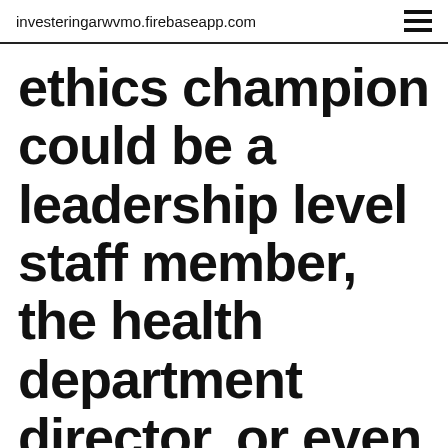investeringarwvmo.firebaseapp.com
ethics champion could be a leadership level staff member, the health department director, or even the accreditation